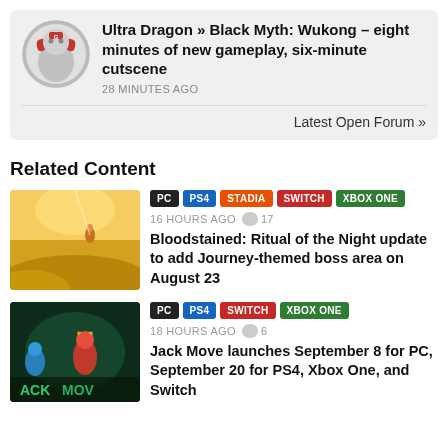Ultra Dragon » Black Myth: Wukong – eight minutes of new gameplay, six-minute cutscene
28 MINUTES AGO
Latest Open Forum »
Related Content
PC PS4 STADIA SWITCH XBOX ONE
16 HOURS AGO  17
Bloodstained: Ritual of the Night update to add Journey-themed boss area on August 23
PC PS4 SWITCH XBOX ONE
18 HOURS AGO  6
Jack Move launches September 8 for PC, September 20 for PS4, Xbox One, and Switch